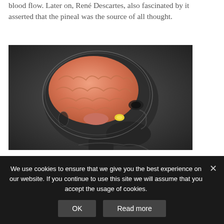blood flow. Later on, René Descartes, also fascinated by it asserted that the pineal was the source of all thought.
[Figure (illustration): 3D medical illustration of a human head in profile (dark/x-ray style) showing a transparent skull with a detailed pink/orange brain visible inside, and a small yellow highlighted structure (pineal gland) at the base of the brain.]
This got me thinking about words and phrases
We use cookies to ensure that we give you the best experience on our website. If you continue to use this site we will assume that you accept the usage of cookies.
OK
Read more